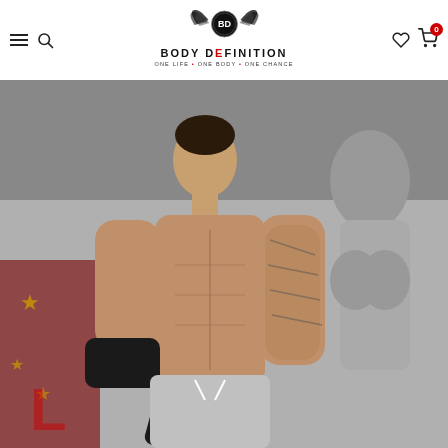Body Definition — ONE LIFE • ONE BODY • ONE CHANCE
[Figure (photo): A shirtless muscular male athlete holding a Body Definition weightlifting belt, standing in front of a gym mural featuring bodybuilders. The athlete has tattoos on his right arm and is wearing gray shorts and black gloves.]